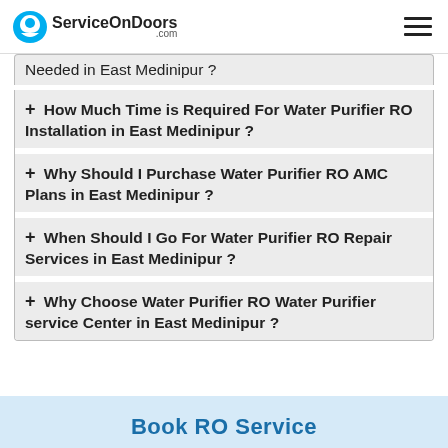ServiceOnDoors.com
Needed in East Medinipur ?
+ How Much Time is Required For Water Purifier RO Installation in East Medinipur ?
+ Why Should I Purchase Water Purifier RO AMC Plans in East Medinipur ?
+ When Should I Go For Water Purifier RO Repair Services in East Medinipur ?
+ Why Choose Water Purifier RO Water Purifier service Center in East Medinipur ?
Book RO Service